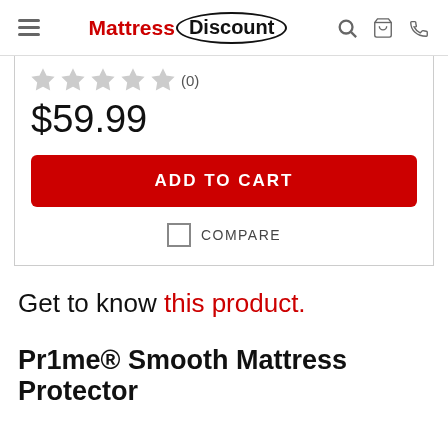Mattress Discount
★★★★★ (0)
$59.99
ADD TO CART
COMPARE
Get to know this product.
Pr1me® Smooth Mattress Protector